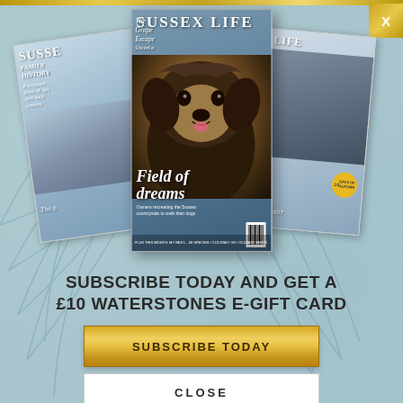[Figure (illustration): Three Sussex Life magazine covers fanned out: left cover shows 'SUSSE' (Sussex Life) with Family History issue and a woman in floral dress, center cover features a fluffy black dog with text 'Field of dreams' and 'The Grape Escape', right cover shows countryside with 'X LIFE' partial title and a golden badge. Magazines arranged on light teal background with leaf watermark pattern.]
SUBSCRIBE TODAY AND GET A £10 WATERSTONES E-GIFT CARD
SUBSCRIBE TODAY
CLOSE